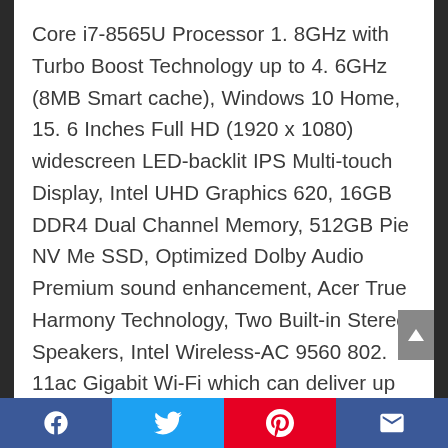Core i7-8565U Processor 1. 8GHz with Turbo Boost Technology up to 4. 6GHz (8MB Smart cache), Windows 10 Home, 15. 6 Inches Full HD (1920 x 1080) widescreen LED-backlit IPS Multi-touch Display, Intel UHD Graphics 620, 16GB DDR4 Dual Channel Memory, 512GB Pie NV Me SSD, Optimized Dolby Audio Premium sound enhancement, Acer True Harmony Technology, Two Built-in Stereo Speakers, Intel Wireless-AC 9560 802. 11ac Gigabit Wi-Fi which can deliver up to 1. 73Gbps throughput when using 160 Mhz channels (Dual-Band 2. 4GHz & 5GHz), Bluetooth 5. 0, Back-lit Keyboard, Acer Bio-Protection Fingerprint Solution, featuring
Facebook | Twitter | Pinterest | Email